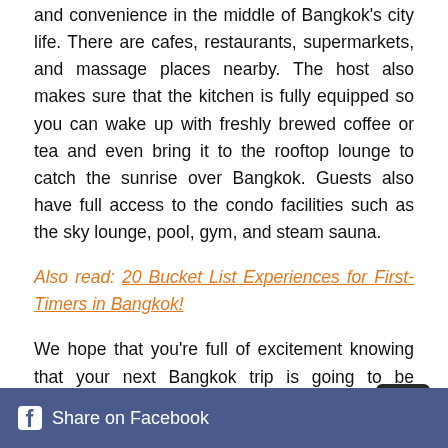and convenience in the middle of Bangkok's city life. There are cafes, restaurants, supermarkets, and massage places nearby. The host also makes sure that the kitchen is fully equipped so you can wake up with freshly brewed coffee or tea and even bring it to the rooftop lounge to catch the sunrise over Bangkok. Guests also have full access to the condo facilities such as the sky lounge, pool, gym, and steam sauna.
Also read: 20 Bucket List Experiences for First-Timers in Bangkok!
We hope that you're full of excitement knowing that your next Bangkok trip is going to be accompanied by a beautiful Vrbo or Airbnb rental. Happy choosing!
Share on Facebook